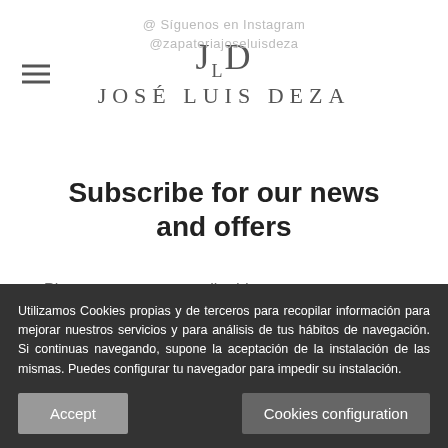José Luis Deza — logo and navigation header
Subscribe for our news and offers
Please enter your e-mail address
Subscribe
Utilizamos Cookies propias y de terceros para recopilar información para mejorar nuestros servicios y para análisis de tus hábitos de navegación. Si continuas navegando, supone la aceptación de la instalación de las mismas. Puedes configurar tu navegador para impedir su instalación.
Accept
Cookies configuration